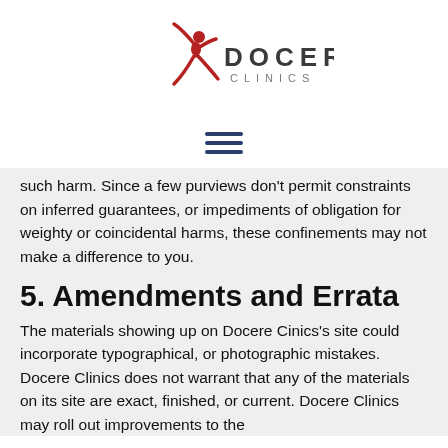[Figure (logo): Docere Clinics logo — red dancer silhouette with DOCERE CLINICS text in dark gray]
[Figure (other): Hamburger menu icon — three horizontal dark blue lines]
such harm. Since a few purviews don't permit constraints on inferred guarantees, or impediments of obligation for weighty or coincidental harms, these confinements may not make a difference to you.
5. Amendments and Errata
The materials showing up on Docere Cinics's site could incorporate typographical, or photographic mistakes. Docere Clinics does not warrant that any of the materials on its site are exact, finished, or current. Docere Clinics may roll out improvements to the